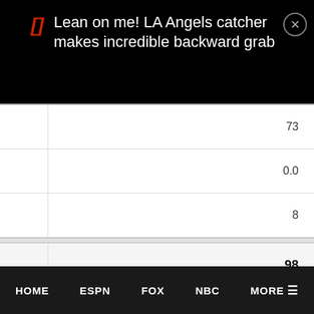Lean on me! LA Angels catcher makes incredible backward grab
| 73 |
| 0.0 |
| 8 |
| 98 |
| AUSTRALIAN RULES FOOTBALL LEAGUE: North Melbourne vs. Es… |
| Thu |
HOME   ESPN   FOX   NBC   MORE